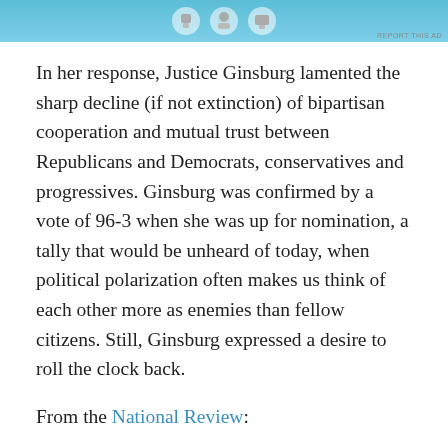[Figure (other): Advertisement banner with blue gradient background and cartoon robot/character icons]
In her response, Justice Ginsburg lamented the sharp decline (if not extinction) of bipartisan cooperation and mutual trust between Republicans and Democrats, conservatives and progressives. Ginsburg was confirmed by a vote of 96-3 when she was up for nomination, a tally that would be unheard of today, when political polarization often makes us think of each other more as enemies than fellow citizens. Still, Ginsburg expressed a desire to roll the clock back.
From the National Review:
In a Wednesday appearance at George Washington University Law School, Justice